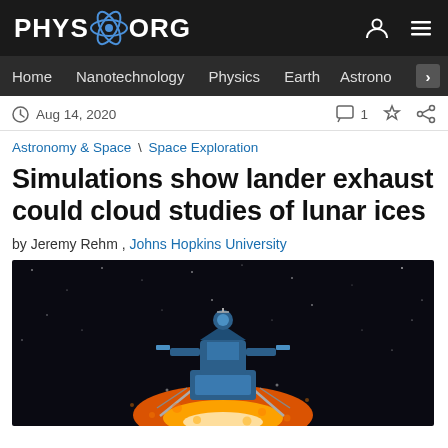PHYS.ORG
Home  Nanotechnology  Physics  Earth  Astronomy
Aug 14, 2020  1
Astronomy & Space \ Space Exploration
Simulations show lander exhaust could cloud studies of lunar ices
by Jeremy Rehm , Johns Hopkins University
[Figure (illustration): Artistic rendering of a lunar lander spacecraft with blue geometric body and orange rocket exhaust, set against a dark space background with stars]